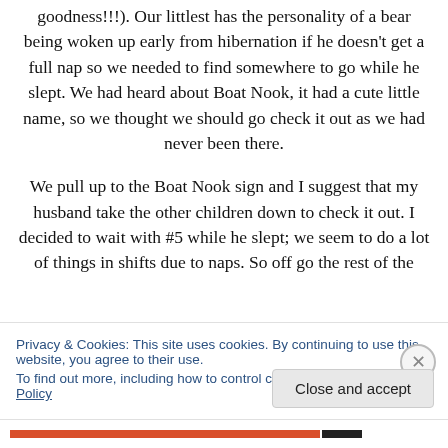goodness!!!). Our littlest has the personality of a bear being woken up early from hibernation if he doesn't get a full nap so we needed to find somewhere to go while he slept. We had heard about Boat Nook, it had a cute little name, so we thought we should go check it out as we had never been there.
We pull up to the Boat Nook sign and I suggest that my husband take the other children down to check it out. I decided to wait with #5 while he slept; we seem to do a lot of things in shifts due to naps. So off go the rest of the
Privacy & Cookies: This site uses cookies. By continuing to use this website, you agree to their use.
To find out more, including how to control cookies, see here: Cookie Policy
Close and accept